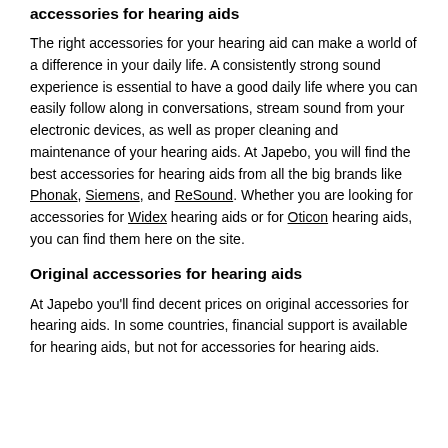accessories for hearing aids
The right accessories for your hearing aid can make a world of a difference in your daily life. A consistently strong sound experience is essential to have a good daily life where you can easily follow along in conversations, stream sound from your electronic devices, as well as proper cleaning and maintenance of your hearing aids. At Japebo, you will find the best accessories for hearing aids from all the big brands like Phonak, Siemens, and ReSound. Whether you are looking for accessories for Widex hearing aids or for Oticon hearing aids, you can find them here on the site.
Original accessories for hearing aids
At Japebo you'll find decent prices on original accessories for hearing aids. In some countries, financial support is available for hearing aids, but not for accessories for hearing aids.